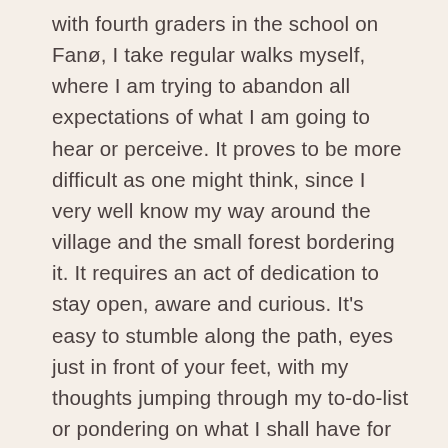with fourth graders in the school on Fanø, I take regular walks myself, where I am trying to abandon all expectations of what I am going to hear or perceive. It proves to be more difficult as one might think, since I very well know my way around the village and the small forest bordering it. It requires an act of dedication to stay open, aware and curious. It's easy to stumble along the path, eyes just in front of your feet, with my thoughts jumping through my to-do-list or pondering on what I shall have for diner tonight. Usually it helps me to keep my eyes straight ahead, renewing my peripheral vision every so often in order to help my ears open up to a global focus, but I found that maybe the best trick of all to stay alert is to slow down